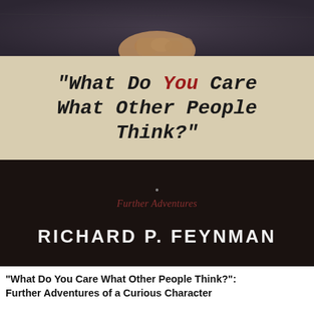[Figure (photo): Book cover of 'What Do You Care What Other People Think?' by Richard P. Feynman. Top section shows a dark photographic image of a person's hand/figure. Middle beige section displays the book title in bold italic monospace font with 'You' in red. Lower dark section shows italic subtitle 'Further Adventures of a Curious Character' in red/dark red and the author's name 'RICHARD P. FEYNMAN' in large white bold letters.]
"What Do You Care What Other People Think?": Further Adventures of a Curious Character